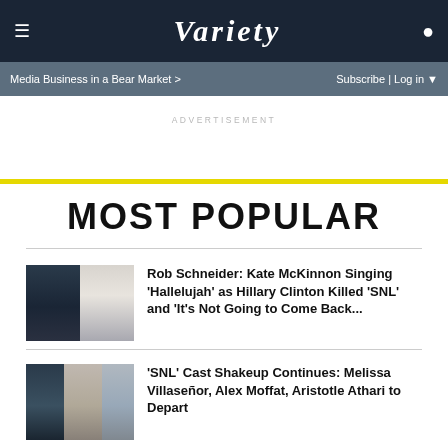VARIETY
Media Business in a Bear Market >
Subscribe | Log in ▼
ADVERTISEMENT
MOST POPULAR
Rob Schneider: Kate McKinnon Singing 'Hallelujah' as Hillary Clinton Killed 'SNL' and 'It's Not Going to Come Back...
'SNL' Cast Shakeup Continues: Melissa Villaseñor, Alex Moffat, Aristotle Athari to Depart